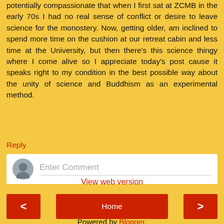potentially compassionate that when I first sat at ZCMB in the early 70s I had no real sense of conflict or desire to leave science for the monostery. Now, getting older, am inclined to spend more time on the cushion at our retreat cabin and less time at the University, but then there's this science thingy where I come alive so I appreciate today's post cause it speaks right to my condition in the best possible way about the unity of science and Buddhism as an experimental method.
Reply
[Figure (screenshot): Comment entry box with avatar icon and 'Enter Comment' placeholder text]
[Figure (screenshot): Navigation bar with previous arrow button (red), Home button (red), and next arrow button (red)]
View web version
Powered by Blogger.